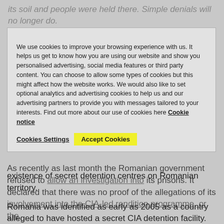its soil and people were held there. Simple denials will no longer do.
"Romania must now conduct an independent, thorough and effective investigation into these reports. Too much information is now in the public domain to stall any longer. A refusal to investigate its role in the CIA's secret detention programme is a serious violation of Romania's human rights commitments."
We use cookies to improve your browsing experience with us. It helps us get to know how you are using our website and show you personalised advertising, social media features or third party content. You can choose to allow some types of cookies but this might affect how the website works. We would also like to set optional analytics and advertising cookies to help us and our advertising partners to provide you with messages tailored to your interests. Find out more about our use of cookies here Cookie notice
As recently as last month the Romanian government refused to allow an investigation into its prisons. It declared that there was no proof of the allegations of its involvement into the CIA-led rendition programme, or the existence of secret detention centres on Romanian territory.
Romania was identified as early as 2005 as a country alleged to have hosted a secret CIA detention facility. Reports by the Parliamentary Assembly of the Council of